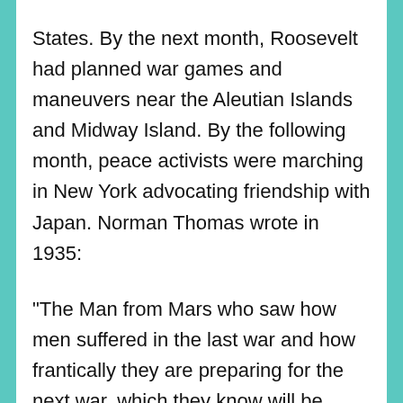States. By the next month, Roosevelt had planned war games and maneuvers near the Aleutian Islands and Midway Island. By the following month, peace activists were marching in New York advocating friendship with Japan. Norman Thomas wrote in 1935:
“The Man from Mars who saw how men suffered in the last war and how frantically they are preparing for the next war, which they know will be worse, would come to the conclusion that he was looking at the denizens of a lunatic asylum.”
The U.S. believed a Japanese attack on Hawaii would begin with conquering the island of Niʻihau,